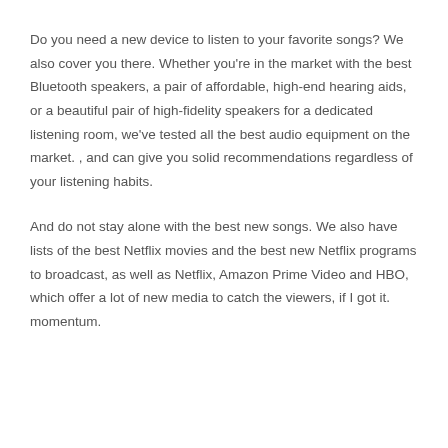Do you need a new device to listen to your favorite songs? We also cover you there. Whether you're in the market with the best Bluetooth speakers, a pair of affordable, high-end hearing aids, or a beautiful pair of high-fidelity speakers for a dedicated listening room, we've tested all the best audio equipment on the market. , and can give you solid recommendations regardless of your listening habits.
And do not stay alone with the best new songs. We also have lists of the best Netflix movies and the best new Netflix programs to broadcast, as well as Netflix, Amazon Prime Video and HBO, which offer a lot of new media to catch the viewers, if I got it. momentum.